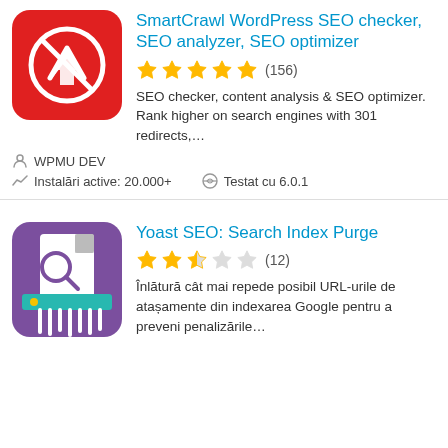[Figure (logo): SmartCrawl plugin icon — red rounded square with white circle and upward-trending arrow]
SmartCrawl WordPress SEO checker, SEO analyzer, SEO optimizer
[Figure (other): 5 yellow stars rating with (156) review count]
SEO checker, content analysis & SEO optimizer. Rank higher on search engines with 301 redirects,...
WPMU DEV
Instalări active: 20.000+
Testat cu 6.0.1
[Figure (logo): Yoast SEO: Search Index Purge plugin icon — purple rounded square with document shredder illustration]
Yoast SEO: Search Index Purge
[Figure (other): 2.5 yellow stars rating with (12) review count]
Înlătură cât mai repede posibil URL-urile de atașamente din indexarea Google pentru a preveni penalizările...